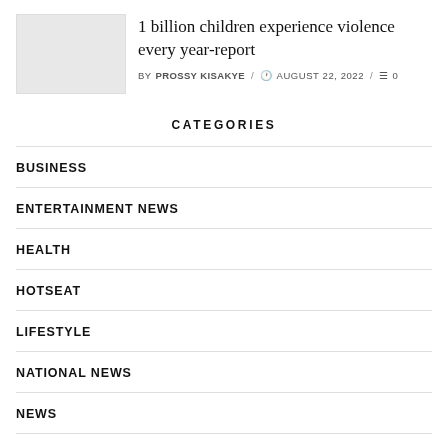[Figure (photo): Thumbnail image placeholder for article about 1 billion children experiencing violence]
1 billion children experience violence every year-report
BY PROSSY KISAKYE / AUGUST 22, 2022 / 0
CATEGORIES
BUSINESS
ENTERTAINMENT NEWS
HEALTH
HOTSEAT
LIFESTYLE
NATIONAL NEWS
NEWS
PHOTO GALLERY